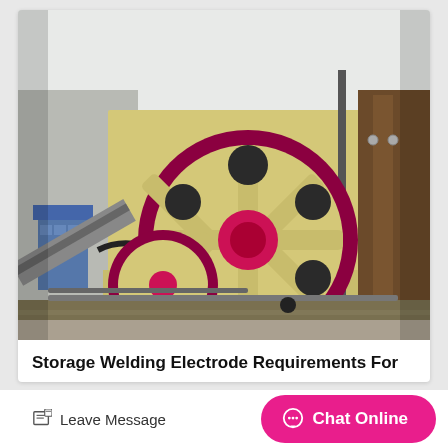[Figure (photo): Industrial jaw crusher machine with large red and cream/yellow flywheel with circular holes, mounted on heavy equipment frame. Blue machinery visible on the left side, rusty brown structural elements on the right. Equipment sits on concrete/gravel ground.]
Storage Welding Electrode Requirements For
Leave Message
Chat Online